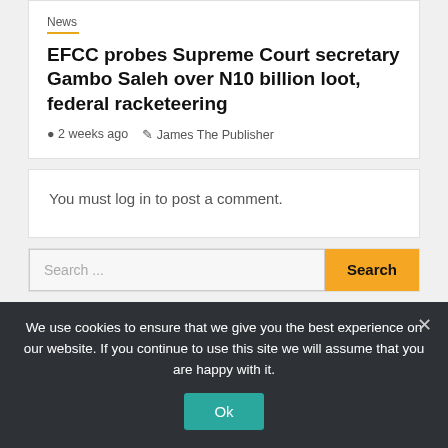News
EFCC probes Supreme Court secretary Gambo Saleh over N10 billion loot, federal racketeering
2 weeks ago   James The Publisher
You must log in to post a comment.
Search ...
We use cookies to ensure that we give you the best experience on our website. If you continue to use this site we will assume that you are happy with it.
Ok